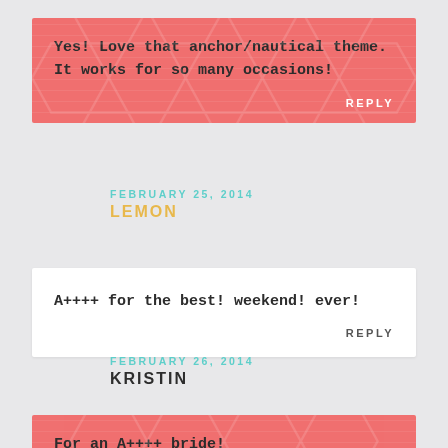Yes! Love that anchor/nautical theme. It works for so many occasions!
REPLY
FEBRUARY 25, 2014
LEMON
A++++ for the best! weekend! ever!
REPLY
FEBRUARY 26, 2014
KRISTIN
For an A++++ bride!